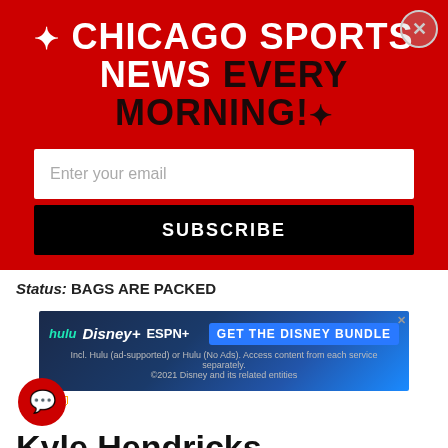[Figure (infographic): Red popup banner for Chicago Sports News newsletter signup with star icons, email input field, and Subscribe button]
Status: BAGS ARE PACKED
[Figure (infographic): Disney Bundle advertisement banner showing Hulu, Disney+, ESPN+ logos with GET THE DISNEY BUNDLE call-to-action button. Incl. Hulu (ad-supported) or Hulu (No Ads). Access content from each service separately. ©2021 Disney and its related entities]
Kyle Hendricks
"The Professor" is now in his 9th season with the Cubs. The 2016 World Series champion has climbed in the...